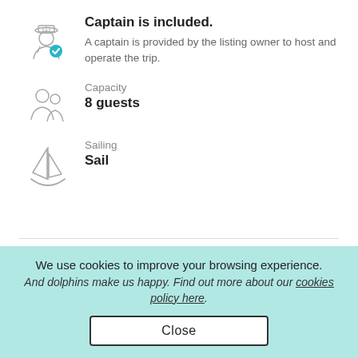[Figure (illustration): Captain icon: a person wearing a captain's hat with a blue checkmark badge]
Captain is included.
A captain is provided by the listing owner to host and operate the trip.
[Figure (illustration): Guests/people icon: two human silhouettes]
Capacity
8 guests
[Figure (illustration): Sailing boat icon: a sailboat outline]
Sailing
Sail
We use cookies to improve your browsing experience.
And dolphins make us happy. Find out more about our cookies policy here.
Close